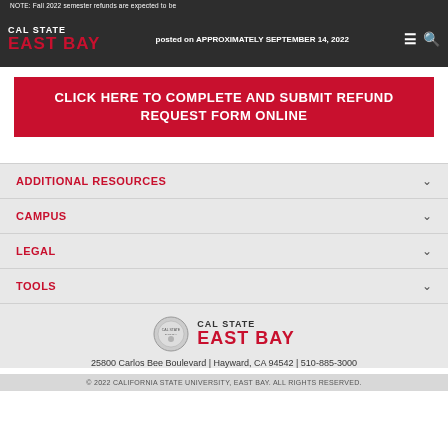NOTE: Fall 2022 semester refunds are expected to be posted on APPROXIMATELY SEPTEMBER 14, 2022
[Figure (logo): Cal State East Bay logo in white and red on dark background header bar]
CLICK HERE TO COMPLETE AND SUBMIT REFUND REQUEST FORM ONLINE
ADDITIONAL RESOURCES
CAMPUS
LEGAL
TOOLS
[Figure (logo): Cal State East Bay footer logo with seal]
25800 Carlos Bee Boulevard | Hayward, CA 94542 | 510-885-3000
© 2022 CALIFORNIA STATE UNIVERSITY, EAST BAY. ALL RIGHTS RESERVED.